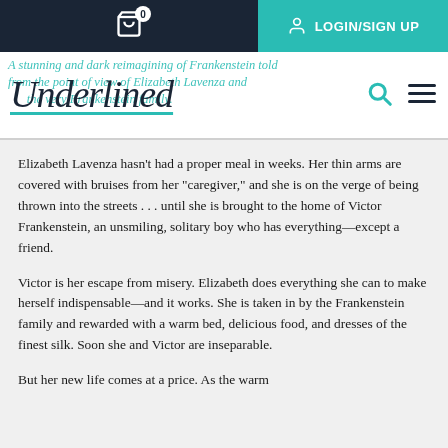Navigation bar with cart (0) and LOGIN/SIGN UP
[Figure (logo): Underlined brand logo with teal underline decoration, search icon, and hamburger menu]
Elizabeth Lavenza hasn't had a proper meal in weeks. Her thin arms are covered with bruises from her "caregiver," and she is on the verge of being thrown into the streets . . . until she is brought to the home of Victor Frankenstein, an unsmiling, solitary boy who has everything—except a friend.
Victor is her escape from misery. Elizabeth does everything she can to make herself indispensable—and it works. She is taken in by the Frankenstein family and rewarded with a warm bed, delicious food, and dresses of the finest silk. Soon she and Victor are inseparable.
But her new life comes at a price. As the warm...